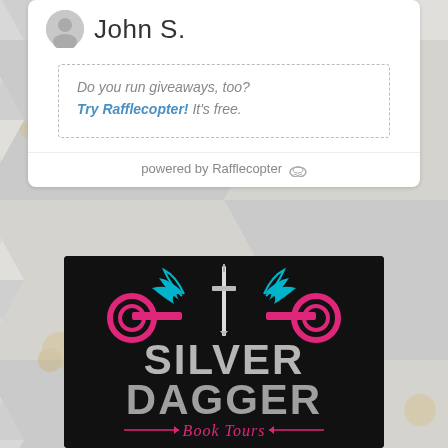John S.
Do you run giveaways, too? Try Rafflecopter! It's free.
powered by Rafflecopter
[Figure (logo): Silver Dagger Book Tours logo on black background with pink decorative elements, cyan winged sword, and distressed white text reading SILVER DAGGER Book Tours]